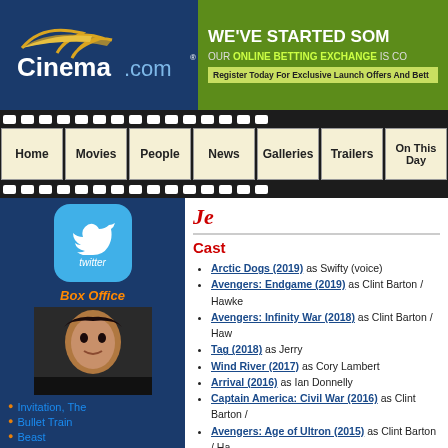Cinema.com
[Figure (screenshot): Cinema.com logo with golden feather and blue background, plus green advertisement banner: WE'VE STARTED SOM... OUR ONLINE BETTING EXCHANGE IS CO... Register Today For Exclusive Launch Offers And Bett...]
[Figure (screenshot): Film strip navigation bar with menu items: Home, Movies, People, News, Galleries, Trailers, On This Day]
[Figure (screenshot): Twitter button with bird icon]
Box Office
[Figure (photo): Movie thumbnail showing a woman's face with dark hair]
Invitation, The
Bullet Train
Beast
Cast
Arctic Dogs (2019) as Swifty (voice)
Avengers: Endgame (2019) as Clint Barton / Hawke...
Avengers: Infinity War (2018) as Clint Barton / Haw...
Tag (2018) as Jerry
Wind River (2017) as Cory Lambert
Arrival (2016) as Ian Donnelly
Captain America: Civil War (2016) as Clint Barton /...
Avengers: Age of Ultron (2015) as Clint Barton / Ha...
Mission: Impossible - Rogue Nation (2015) as Will...
Kill the Messenger (2014) as Gary Webb
American Hustle (2013) as Carmine Polito
Hansel and Gretel: Witch Hunters (2013) as Hanse...